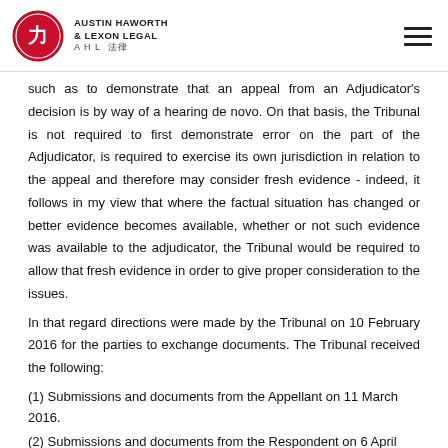AUSTIN HAWORTH & LEXON LEGAL AHL 法律
such as to demonstrate that an appeal from an Adjudicator's decision is by way of a hearing de novo. On that basis, the Tribunal is not required to first demonstrate error on the part of the Adjudicator, is required to exercise its own jurisdiction in relation to the appeal and therefore may consider fresh evidence - indeed, it follows in my view that where the factual situation has changed or better evidence becomes available, whether or not such evidence was available to the adjudicator, the Tribunal would be required to allow that fresh evidence in order to give proper consideration to the issues.
In that regard directions were made by the Tribunal on 10 February 2016 for the parties to exchange documents. The Tribunal received the following:
(1) Submissions and documents from the Appellant on 11 March 2016.
(2) Submissions and documents from the Respondent on 6 April 2016.
(3) A further statement with attachments from the Appellant on 5 May